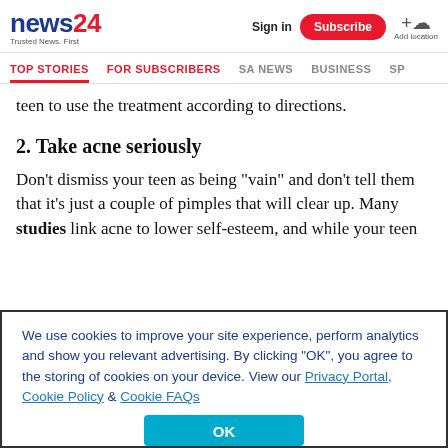news24 Trusted News. First | Sign in | Subscribe | Add location
TOP STORIES | FOR SUBSCRIBERS | SA NEWS | BUSINESS | SP
teen to use the treatment according to directions.
2. Take acne seriously
Don’t dismiss your teen as being “vain” and don’t tell them that it’s just a couple of pimples that will clear up. Many studies link acne to lower self-esteem, and while your teen
We use cookies to improve your site experience, perform analytics and show you relevant advertising. By clicking "OK", you agree to the storing of cookies on your device. View our Privacy Portal, Cookie Policy & Cookie FAQs